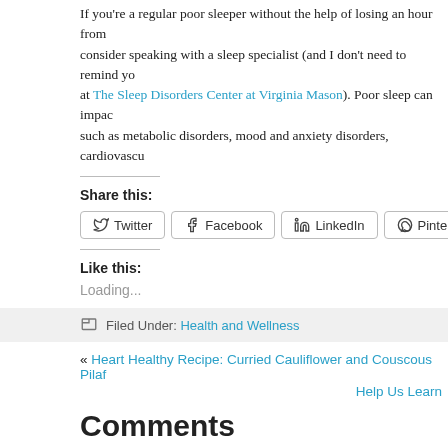If you're a regular poor sleeper without the help of losing an hour from consider speaking with a sleep specialist (and I don't need to remind you at The Sleep Disorders Center at Virginia Mason). Poor sleep can impact such as metabolic disorders, mood and anxiety disorders, cardiovascu
Share this:
Twitter  Facebook  LinkedIn  Pinterest  Print
Like this:
Loading...
Filed Under: Health and Wellness
« Heart Healthy Recipe: Curried Cauliflower and Couscous Pilaf
Help Us Learn
Comments